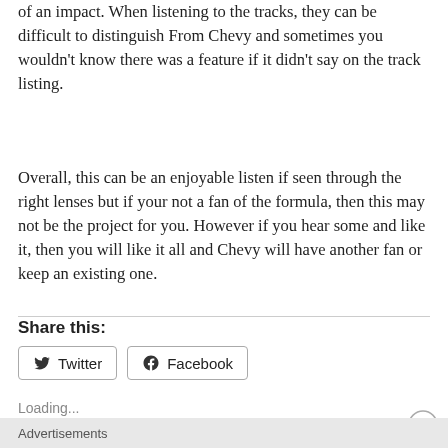of an impact. When listening to the tracks, they can be difficult to distinguish From Chevy and sometimes you wouldn't know there was a feature if it didn't say on the track listing.
Overall, this can be an enjoyable listen if seen through the right lenses but if your not a fan of the formula, then this may not be the project for you. However if you hear some and like it, then you will like it all and Chevy will have another fan or keep an existing one.
Share this:
Twitter
Facebook
Loading...
Advertisements